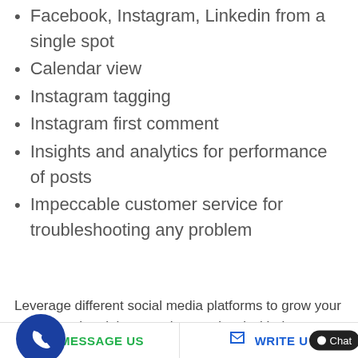Facebook, Instagram, Linkedin from a single spot
Calendar view
Instagram tagging
Instagram first comment
Insights and analytics for performance of posts
Impeccable customer service for troubleshooting any problem
Leverage different social media platforms to grow your business across the globe or to the next level with the Digital Marketing Course